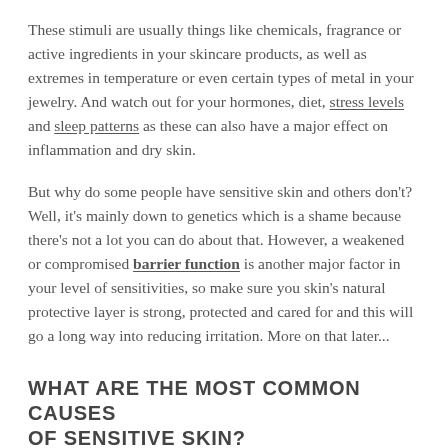These stimuli are usually things like chemicals, fragrance or active ingredients in your skincare products, as well as extremes in temperature or even certain types of metal in your jewelry. And watch out for your hormones, diet, stress levels and sleep patterns as these can also have a major effect on inflammation and dry skin.
But why do some people have sensitive skin and others don't? Well, it's mainly down to genetics which is a shame because there's not a lot you can do about that. However, a weakened or compromised barrier function is another major factor in your level of sensitivities, so make sure you skin's natural protective layer is strong, protected and cared for and this will go a long way into reducing irritation. More on that later...
WHAT ARE THE MOST COMMON CAUSES OF SENSITIVE SKIN?